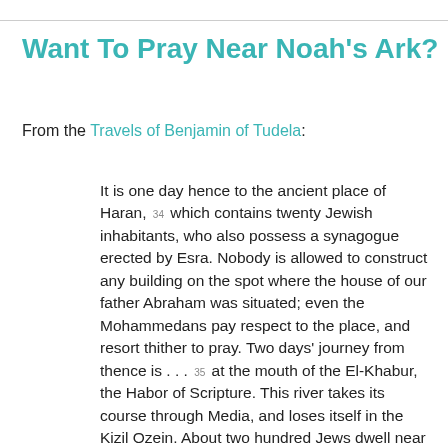Want To Pray Near Noah's Ark?
From the Travels of Benjamin of Tudela:
It is one day hence to the ancient place of Haran, 34 which contains twenty Jewish inhabitants, who also possess a synagogue erected by Esra. Nobody is allowed to construct any building on the spot where the house of our father Abraham was situated; even the Mohammedans pay respect to the place, and resort thither to pray. Two days' journey from thence is . . . 35 at the mouth of the El-Khabur, the Habor of Scripture. This river takes its course through Media, and loses itself in the Kizil Ozein. About two hundred Jews dwell near this place. Two days to Nisibin, a large city plentifully watered, and containing about one thousand Jews. Two days to Jezireh ben Omar, an island in